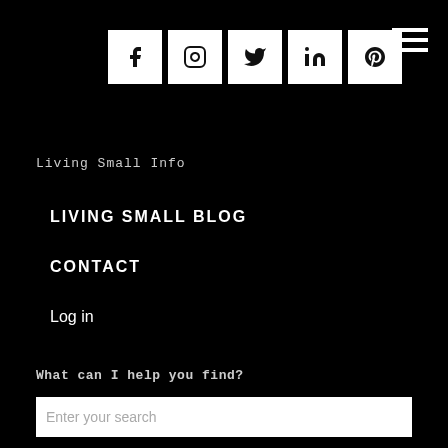[Figure (other): Social media icon buttons: Facebook, Instagram, Twitter, LinkedIn, Pinterest — white square tiles on black background]
[Figure (other): Hamburger menu icon (three horizontal white lines) in top right corner]
Living Small Info
LIVING SMALL BLOG
CONTACT
Log in
What can I help you find?
Enter your search